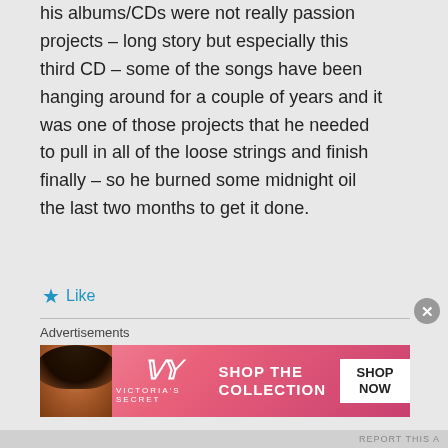his albums/CDs were not really passion projects – long story but especially this third CD – some of the songs have been hanging around for a couple of years and it was one of those projects that he needed to pull in all of the loose strings and finish finally – so he burned some midnight oil the last two months to get it done.
★ Like
Advertisements
[Figure (screenshot): Victoria's Secret advertisement banner with pink background, model photo, VS logo, 'SHOP THE COLLECTION' text, and 'SHOP NOW' button]